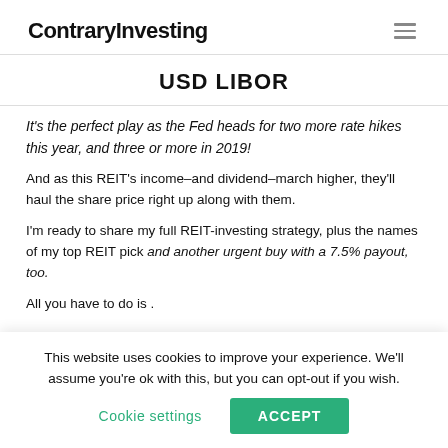ContraryInvesting
USD LIBOR
It’s the perfect play as the Fed heads for two more rate hikes this year, and three or more in 2019!
And as this REIT’s income–and dividend–march higher, they’ll haul the share price right up along with them.
I’m ready to share my full REIT-investing strategy, plus the names of my top REIT pick and another urgent buy with a 7.5% payout, too.
All you have to do is .
This website uses cookies to improve your experience. We’ll assume you’re ok with this, but you can opt-out if you wish.